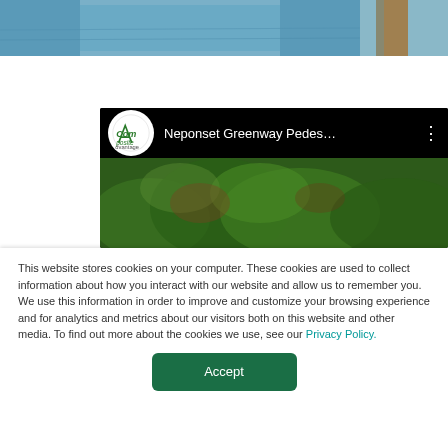[Figure (photo): Partial view of a water/dock scene at the top of the page]
[Figure (screenshot): YouTube video thumbnail for 'Neponset Greenway Pedes...' with Composite Advantage logo, showing a green foliage background]
This website stores cookies on your computer. These cookies are used to collect information about how you interact with our website and allow us to remember you. We use this information in order to improve and customize your browsing experience and for analytics and metrics about our visitors both on this website and other media. To find out more about the cookies we use, see our Privacy Policy.